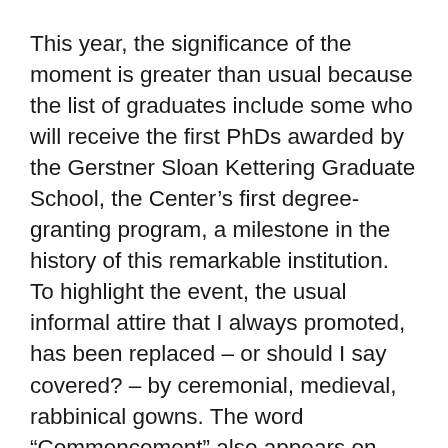This year, the significance of the moment is greater than usual because the list of graduates include some who will receive the first PhDs awarded by the Gerstner Sloan Kettering Graduate School, the Center's first degree-granting program, a milestone in the history of this remarkable institution.  To highlight the event, the usual informal attire that I always promoted, has been replaced – or should I say covered? – by ceremonial, medieval, rabbinical gowns. The word “Commencement” also appears on today’s Convocation program, and the musicians have played not just Mozart but also Pomp and Circumstance.
The extent and diversity of graduate training on this campus may be a surprise to many – not to those in this audience – but to many around the